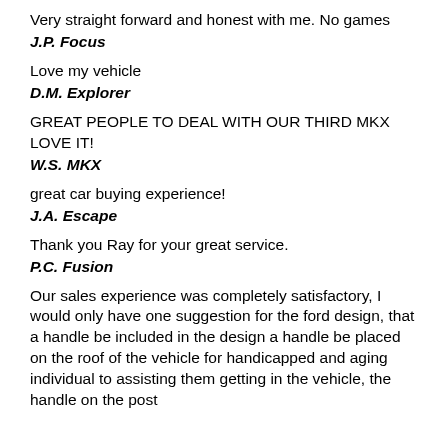Very straight forward and honest with me. No games
J.P. Focus
Love my vehicle
D.M. Explorer
GREAT PEOPLE TO DEAL WITH OUR THIRD MKX LOVE IT!
W.S. MKX
great car buying experience!
J.A. Escape
Thank you Ray for your great service.
P.C. Fusion
Our sales experience was completely satisfactory, I would only have one suggestion for the ford design, that a handle be included in the design a handle be placed on the roof of the vehicle for handicapped and aging individual to assisting them getting in the vehicle, the handle on the post